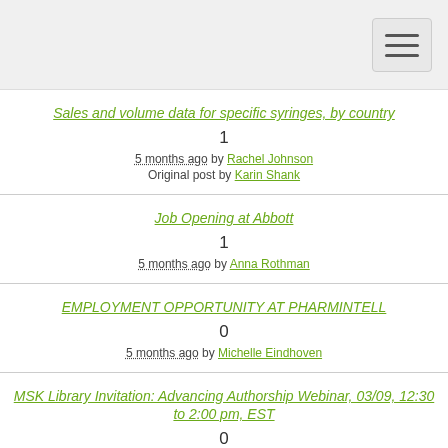Sales and volume data for specific syringes, by country
1
5 months ago by Rachel Johnson
Original post by Karin Shank
Job Opening at Abbott
1
5 months ago by Anna Rothman
EMPLOYMENT OPPORTUNITY AT PHARMINTELL
0
5 months ago by Michelle Eindhoven
MSK Library Invitation: Advancing Authorship Webinar, 03/09, 12:30 to 2:00 pm, EST
0